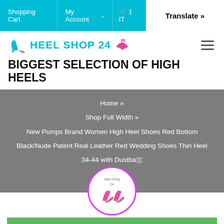Shopping Cart | My Account | 1 IT | Translate »
[Figure (logo): Heel Shop 24 logo with high heel shoe icon and pink shoe graphic]
BIGGEST SELECTION OF HIGH HEELS
Home » Shop Full Width » New Pumps Brand Women High Heel Shoes Red Bottom Black/Nude Patent Real Leather Red Wedding Shoes Thin Heel 34-44 with Dustba...
[Figure (logo): Heel Shop 24 circular logo with pink high heel shoes]
"2021 New Summer Pumps Fashion Sandals Crystal Strange Style High Heels Square toe
View cart